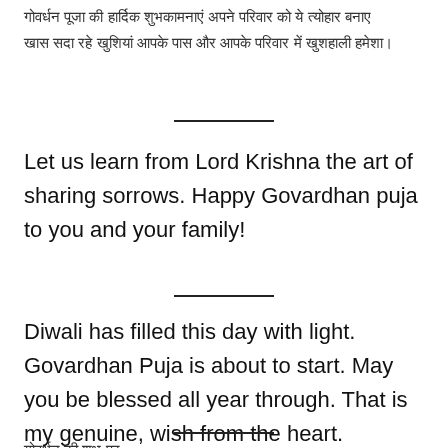गोवर्धन पूजा की शुभकामनाएं।
Let us learn from Lord Krishna the art of sharing sorrows. Happy Govardhan puja to you and your family!
Diwali has filled this day with light. Govardhan Puja is about to start. May you be blessed all year through. That is my genuine, wish from the heart.
गोवर्धन की शुभ पर,